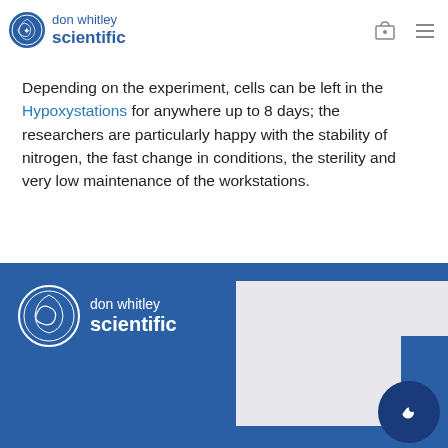[Figure (logo): Don Whitley Scientific logo with circular emblem and text in blue]
Depending on the experiment, cells can be left in the Hypoxystations for anywhere up to 8 days; the researchers are particularly happy with the stability of nitrogen, the fast change in conditions, the sterility and very low maintenance of the workstations.
[Figure (logo): Don Whitley Scientific footer logo on blue background with decorative image panels and circular icon]